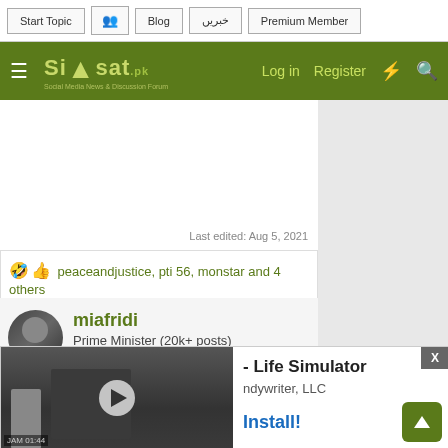Start Topic | Blog | خبریں | Premium Member
Siasat.pk - Social Media News & Discussion Forum | Log in | Register
Last edited: Aug 5, 2021
🤣 👍 peaceandjustice, pti 56, monstar and 4 others
miafridi
Prime Minister (20k+ posts)
[Figure (screenshot): Ad overlay with video thumbnail showing a woman in a hospital with a baby, play button visible. Ad text: '- Life Simulator', 'ndywriter, LLC', 'Install!' button. Close X button in top right.]